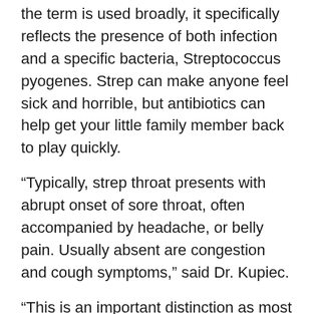the term is used broadly, it specifically reflects the presence of both infection and a specific bacteria, Streptococcus pyogenes. Strep can make anyone feel sick and horrible, but antibiotics can help get your little family member back to play quickly.
“Typically, strep throat presents with abrupt onset of sore throat, often accompanied by headache, or belly pain. Usually absent are congestion and cough symptoms,” said Dr. Kupiec.
“This is an important distinction as most often children can present with sore throats associated with the common cold virus.”
On exam, patients will often have swelling of tonsils and tender lymph nodes in the head and neck area. Diagnosing strep throat requires evaluation by a health professional for an accurate diagnosis. Less